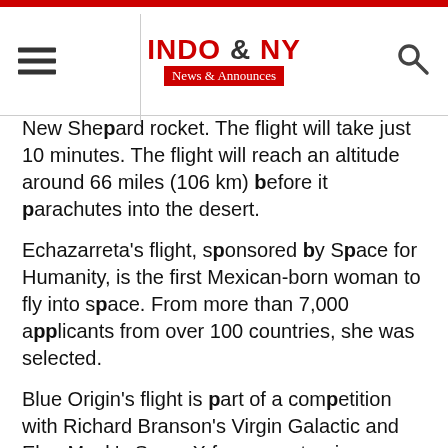INDO & NY News & Announces
New Shepard rocket. The flight will take just 10 minutes. The flight will reach an altitude around 66 miles (106 km) before it parachutes into the desert.
Echazarreta's flight, sponsored by Space for Humanity, is the first Mexican-born woman to fly into space. From more than 7,000 applicants from over 100 countries, she was selected.
Blue Origin's flight is part of a competition with Richard Branson's Virgin Galactic and Elon Musk's SpaceX for space tourism dollars. This space tourism dollar will be used to support diversity and increase diversity in space travel which has long been dominated white men.
Out of the 600+ people who have traveled to space since Yuri Gagarin's 1961 pioneering flight, less than